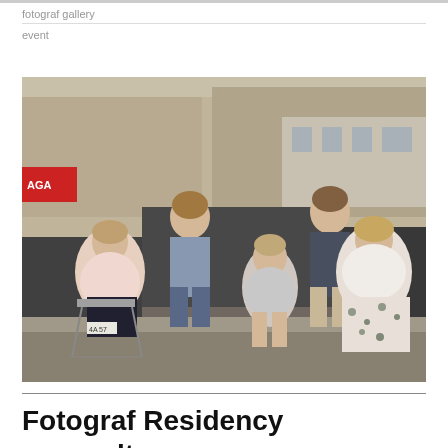fotograf gallery
event
[Figure (photo): Five people gathered on a city street outside, with cars and buildings in the background. Three women and two men, some seated on folding chairs, one woman in a floral skirt, one in a pink blouse, one seated in the middle in a grey top, two men standing in the back.]
Fotograf Residency — results